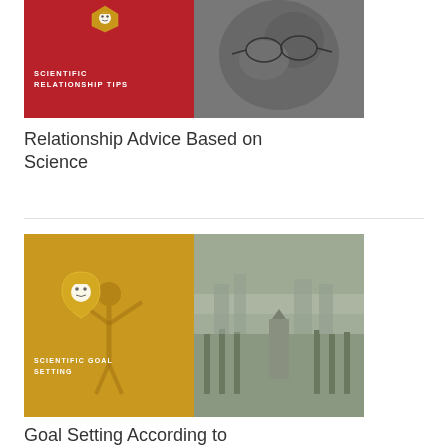[Figure (photo): Article thumbnail split image: left half red background with lion badge logo and text 'SCIENTIFIC RELATIONSHIP TIPS', right half black-and-white close-up photo of elderly man's face with glasses]
Relationship Advice Based on Science
[Figure (photo): Article thumbnail split image: left half golden/yellow background with lion badge logo, silhouette of person with arms raised, and text 'SCIENTIFIC GOAL SETTING', right half muted/foggy photo of city park scene with monument]
Goal Setting According to